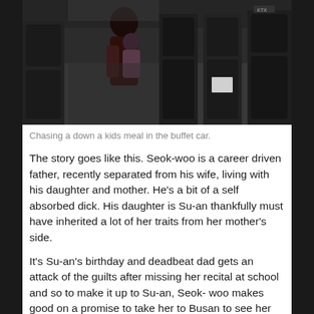[Figure (photo): Scene inside a train car showing people moving through the aisle between dark seats. The image is dark-toned showing train interior with headrests visible.]
Chasing a down a kids meal in the buffet car.
The story goes like this. Seok-woo is a career driven father, recently separated from his wife, living with his daughter and mother. He’s a bit of a self absorbed dick. His daughter is Su-an thankfully must have inherited a lot of her traits from her mother’s side.
It’s Su-an’s birthday and deadbeat dad gets an attack of the guilts after missing her recital at school and so to make it up to Su-an, Seok- woo makes good on a promise to take her to Busan to see her mother.
You can guess what happens from here right? They board the train, news reports start coming in, people